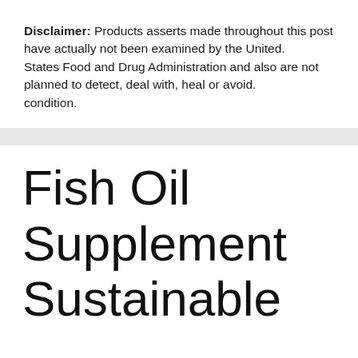Disclaimer: Products asserts made throughout this post have actually not been examined by the United. States Food and Drug Administration and also are not planned to detect, deal with, heal or avoid. condition.
Fish Oil Supplement Sustainable